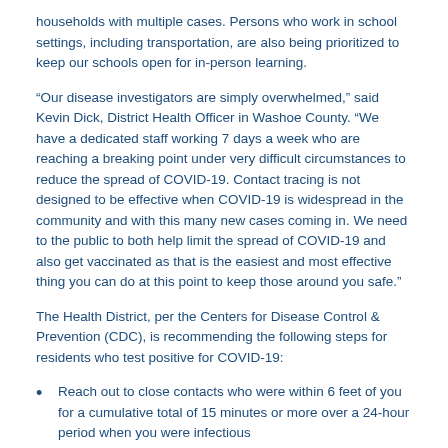households with multiple cases. Persons who work in school settings, including transportation, are also being prioritized to keep our schools open for in-person learning.
“Our disease investigators are simply overwhelmed,” said Kevin Dick, District Health Officer in Washoe County. “We have a dedicated staff working 7 days a week who are reaching a breaking point under very difficult circumstances to reduce the spread of COVID-19. Contact tracing is not designed to be effective when COVID-19 is widespread in the community and with this many new cases coming in. We need to the public to both help limit the spread of COVID-19 and also get vaccinated as that is the easiest and most effective thing you can do at this point to keep those around you safe.”
The Health District, per the Centers for Disease Control & Prevention (CDC), is recommending the following steps for residents who test positive for COVID-19:
Reach out to close contacts who were within 6 feet of you for a cumulative total of 15 minutes or more over a 24-hour period when you were infectious
Per the CDC, an infected person can spread COVID-19 starting 48 hours (or 2 days) before the person has any